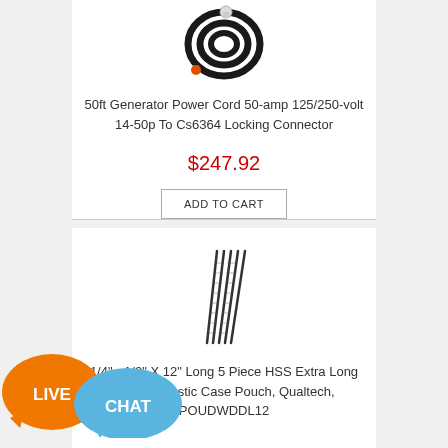[Figure (photo): Coiled black generator power cord with orange connector end]
50ft Generator Power Cord 50-amp 125/250-volt 14-50p To Cs6364 Locking Connector
$247.92
ADD TO CART
[Figure (photo): Set of 5 long HSS drill bits fanned out]
1/4" - 1/2" X 12" Long 5 Piece HSS Extra Long Bit Set, Plastic Case Pouch, Qualtech, POUDWDDL12
[Figure (illustration): Live Chat button overlay with orange and blue speech bubbles]